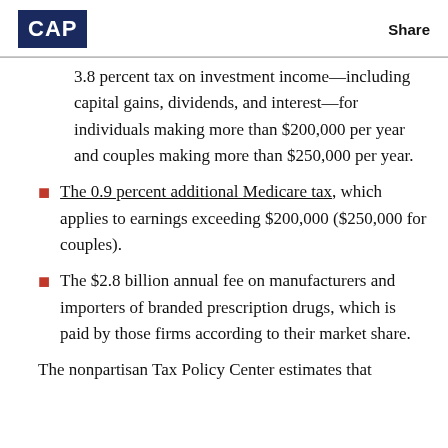CAP | Share
3.8 percent tax on investment income—including capital gains, dividends, and interest—for individuals making more than $200,000 per year and couples making more than $250,000 per year.
The 0.9 percent additional Medicare tax, which applies to earnings exceeding $200,000 ($250,000 for couples).
The $2.8 billion annual fee on manufacturers and importers of branded prescription drugs, which is paid by those firms according to their market share.
The nonpartisan Tax Policy Center estimates that